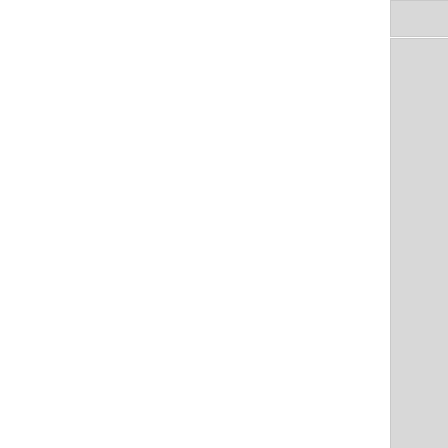1 MB
243.1 KB
[Figure (screenshot): File browser grid showing PDF file icons. Row 1: baumann... (297.6 KB), beaver.pdf (311.8 KB), truncated third item. Row 2: bpfs.pdf (225 KB), bplru.pdf (1.1 MB), truncated third item. Partial row 3 visible at bottom.]